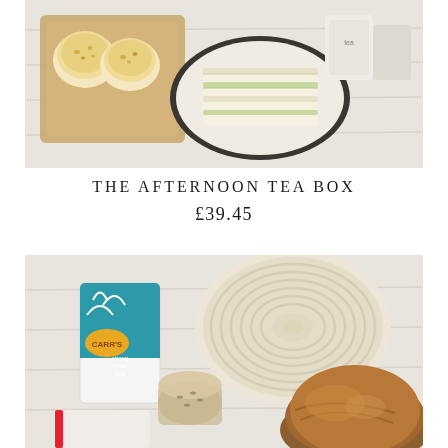[Figure (photo): Overhead flat-lay photo on a white wooden surface showing an afternoon tea box with a small tray of pastry cups, a dark rimmed plate with stacked finger sandwiches, and small packaged items in the background.]
THE AFTERNOON TEA BOX
£39.45
[Figure (photo): Overhead flat-lay photo on a white wooden surface showing bread-making ingredients including a bag of Carr's strong white flour, a round banneton proofing basket, a jar of seeds, a small bag of flour or salt, and a large rustic sourdough loaf.]